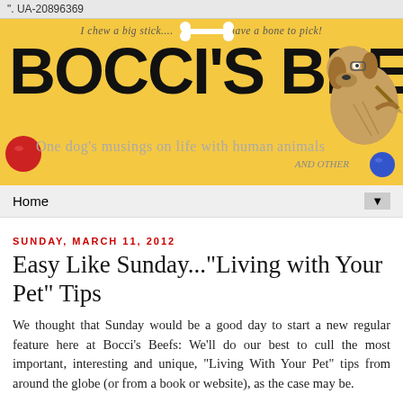". UA-20896369
[Figure (illustration): Bocci's Beefs blog banner with yellow background, large black stylized text reading BOCCI'S BEEFS, a bone graphic, tagline 'I chew a big stick... and have a bone to pick!', dog illustration on right, red and blue bocce balls, and subtitle 'One dog's musings on life with human animals AND OTHER']
Home
SUNDAY, MARCH 11, 2012
Easy Like Sunday..."Living with Your Pet" Tips
We thought that Sunday would be a good day to start a new regular feature here at Bocci's Beefs: We'll do our best to cull the most important, interesting and unique, "Living With Your Pet" tips from around the globe (or from a book or website), as the case may be.